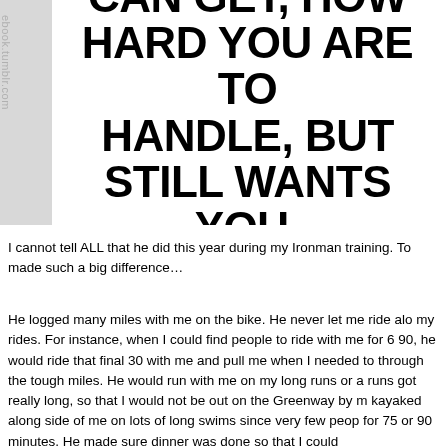[Figure (other): Bold motivational quote text in large black font on white background with 'ebook.tumblr.com' watermark rotated vertically on the left side. Text reads: 'CAN GET, HOW HARD YOU ARE TO HANDLE, BUT STILL WANTS YOU.' (partial, top cut off)]
I cannot tell ALL that he did this year during my Ironman training. To made such a big difference...
He logged many miles with me on the bike. He never let me ride alo my rides. For instance, when I could find people to ride with me for 6 90, he would ride that final 30 with me and pull me when I needed to through the tough miles. He would run with me on my long runs or a runs got really long, so that I would not be out on the Greenway by m kayaked along side of me on lots of long swims since very few peop for 75 or 90 minutes. He made sure dinner was done so that I could